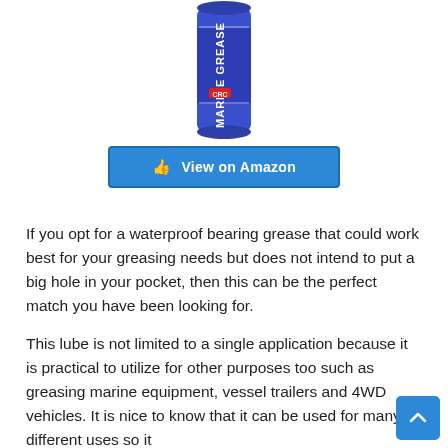[Figure (photo): A blue cylindrical can of Marine Grease product, shown vertically]
[Figure (other): Blue 'View on Amazon' button with a hand/pointer icon]
If you opt for a waterproof bearing grease that could work best for your greasing needs but does not intend to put a big hole in your pocket, then this can be the perfect match you have been looking for.
This lube is not limited to a single application because it is practical to utilize for other purposes too such as greasing marine equipment, vessel trailers and 4WD vehicles. It is nice to know that it can be used for many different uses so it